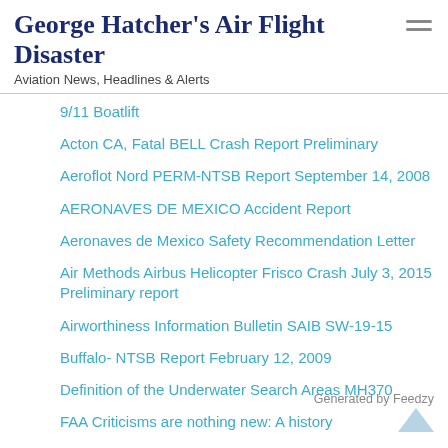George Hatcher's Air Flight Disaster
Aviation News, Headlines & Alerts
9/11 Boatlift
Acton CA, Fatal BELL Crash Report Preliminary
Aeroflot Nord PERM-NTSB Report September 14, 2008
AERONAVES DE MEXICO Accident Report
Aeronaves de Mexico Safety Recommendation Letter
Air Methods Airbus Helicopter Frisco Crash July 3, 2015 Preliminary report
Airworthiness Information Bulletin SAIB SW-19-15
Buffalo- NTSB Report February 12, 2009
Definition of the Underwater Search Areas MH370
FAA Criticisms are nothing new: A history
GOL – NTSB Report September 29, 2006
Generated by Feedzy